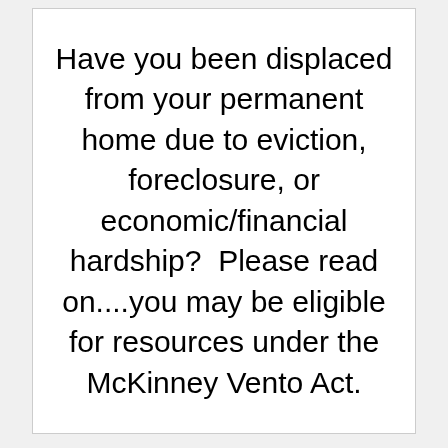Have you been displaced from your permanent home due to eviction, foreclosure, or economic/financial hardship?  Please read on....you may be eligible for resources under the McKinney Vento Act.